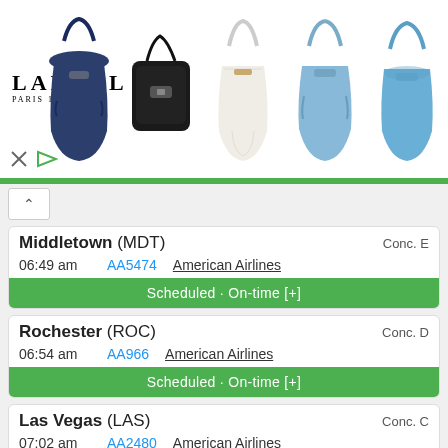[Figure (photo): Lancel Paris advertisement banner showing logo on left and 5 handbags (navy drawstring, black crossbody, white bucket, light blue tote, blue bucket) on right]
Middletown (MDT) — Conc. E — 06:49 am — AA5474 — American Airlines — Scheduled · On-time [+]
Rochester (ROC) — Conc. D — 06:54 am — AA966 — American Airlines — Scheduled · On-time [+]
Las Vegas (LAS) — Conc. C — 07:02 am — AA2480 — American Airlines — BA4728 — British Airways — Scheduled · On-time [+]